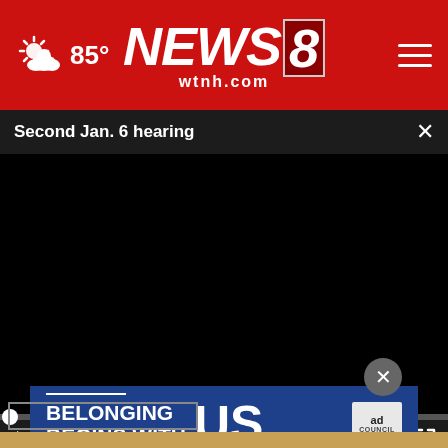NEWS 8 wtnh.com — 85°
Second Jan. 6 hearing
[Figure (screenshot): Black video player area showing a paused video with progress bar at beginning (0:00) and player controls including play button, mute button, time display 00:00, and fullscreen button]
[Figure (other): Ad Council banner: BELONGING BEGINS WITH US in blue background with ad council logo badge]